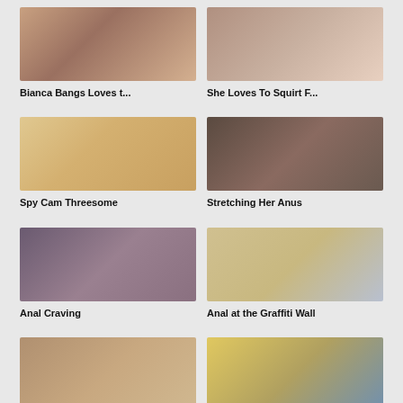[Figure (photo): Thumbnail image for adult video]
Bianca Bangs Loves t...
[Figure (photo): Thumbnail image for adult video]
She Loves To Squirt F...
[Figure (photo): Thumbnail image for adult video]
Spy Cam Threesome
[Figure (photo): Thumbnail image for adult video]
Stretching Her Anus
[Figure (photo): Thumbnail image for adult video]
Anal Craving
[Figure (photo): Thumbnail image for adult video]
Anal at the Graffiti Wall
[Figure (photo): Thumbnail image for adult video (partially visible)]
Boastful Mo...
[Figure (photo): Thumbnail image for adult video (partially visible)]
Bannish Sho...